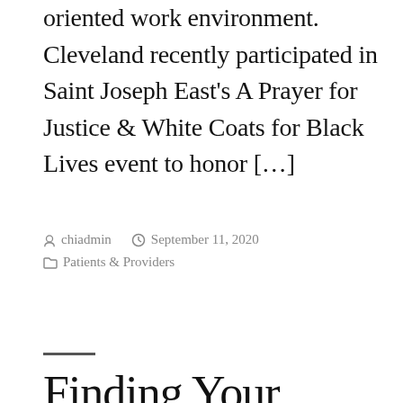oriented work environment. Cleveland recently participated in Saint Joseph East's A Prayer for Justice & White Coats for Black Lives event to honor […]
Posted by chiadmin  September 11, 2020  Patients & Providers
Finding Your Devotion